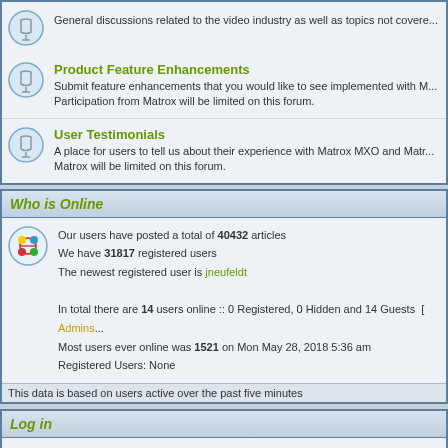General discussions related to the video industry as well as topics not covered...
Product Feature Enhancements
Submit feature enhancements that you would like to see implemented with M... Participation from Matrox will be limited on this forum.
User Testimonials
A place for users to tell us about their experience with Matrox MXO and Matr... Matrox will be limited on this forum.
Who is Online
Our users have posted a total of 40432 articles
We have 31817 registered users
The newest registered user is jneufeldt
In total there are 14 users online :: 0 Registered, 0 Hidden and 14 Guests  [ Admins...
Most users ever online was 1521 on Mon May 28, 2018 5:36 am
Registered Users: None
This data is based on users active over the past five minutes
Log in
Username:   Password:
New posts
No...
This board is prote... Powered by phpBB ©